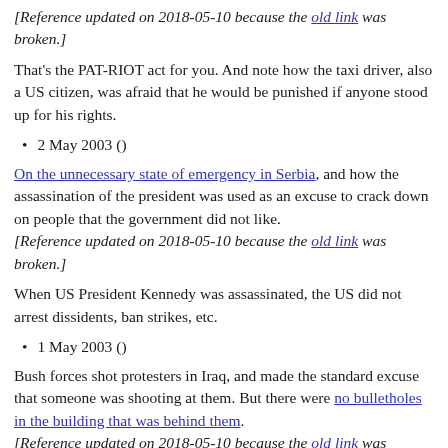[Reference updated on 2018-05-10 because the old link was broken.]
That's the PAT-RIOT act for you. And note how the taxi driver, also a US citizen, was afraid that he would be punished if anyone stood up for his rights.
2 May 2003 ()
On the unnecessary state of emergency in Serbia, and how the assassination of the president was used as an excuse to crack down on people that the government did not like. [Reference updated on 2018-05-10 because the old link was broken.]
When US President Kennedy was assassinated, the US did not arrest dissidents, ban strikes, etc.
1 May 2003 ()
Bush forces shot protesters in Iraq, and made the standard excuse that someone was shooting at them. But there were no bulletholes in the building that was behind them. [Reference updated on 2018-05-10 because the old link was broken.]